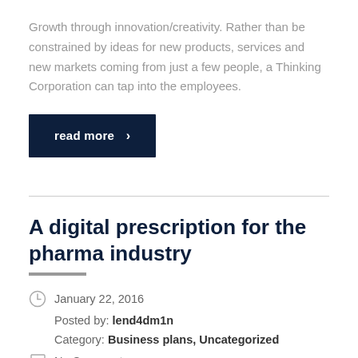Growth through innovation/creativity. Rather than be constrained by ideas for new products, services and new markets coming from just a few people, a Thinking Corporation can tap into the employees.
read more >
A digital prescription for the pharma industry
January 22, 2016
Posted by: lend4dm1n
Category: Business plans, Uncategorized
No Comments